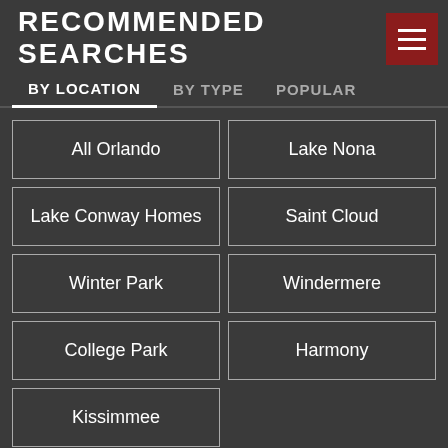RECOMMENDED SEARCHES
BY LOCATION | BY TYPE | POPULAR
All Orlando
Lake Nona
Lake Conway Homes
Saint Cloud
Winter Park
Windermere
College Park
Harmony
Kissimmee
CONTACT US